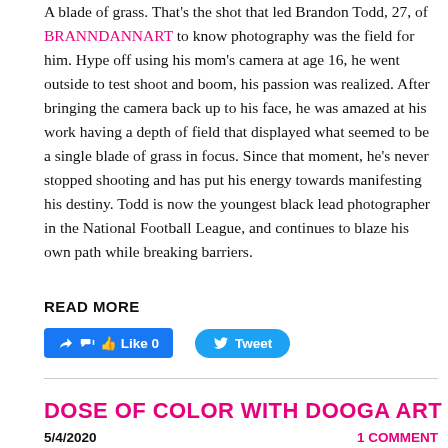A blade of grass. That's the shot that led Brandon Todd, 27, of BRANNDANNART to know photography was the field for him. Hype off using his mom's camera at age 16, he went outside to test shoot and boom, his passion was realized. After bringing the camera back up to his face, he was amazed at his work having a depth of field that displayed what seemed to be a single blade of grass in focus. Since that moment, he's never stopped shooting and has put his energy towards manifesting his destiny. Todd is now the youngest black lead photographer in the National Football League, and continues to blaze his own path while breaking barriers.
READ MORE
[Figure (other): Facebook Like button (Like 0) and Twitter Tweet button]
DOSE OF COLOR WITH DOOGA ART
5/4/2020    1 COMMENT